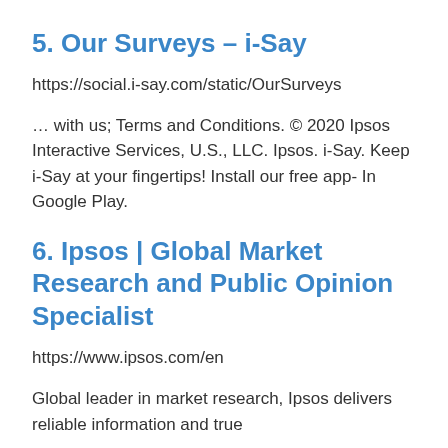5. Our Surveys – i-Say
https://social.i-say.com/static/OurSurveys
… with us; Terms and Conditions. © 2020 Ipsos Interactive Services, U.S., LLC. Ipsos. i-Say. Keep i-Say at your fingertips! Install our free app- In Google Play.
6. Ipsos | Global Market Research and Public Opinion Specialist
https://www.ipsos.com/en
Global leader in market research, Ipsos delivers reliable information and true